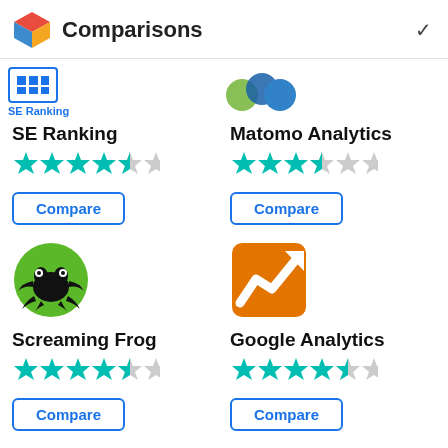Comparisons
[Figure (logo): SE Ranking logo - blue grid icon with SE Ranking text]
SE Ranking
[Figure (infographic): 4.5 out of 5 stars rating for SE Ranking]
Compare
[Figure (logo): Matomo Analytics logo - colorful circles]
Matomo Analytics
[Figure (infographic): 4 out of 5 stars rating for Matomo Analytics]
Compare
[Figure (logo): Screaming Frog logo - frog in green circle]
Screaming Frog
[Figure (infographic): 4.5 out of 5 stars rating for Screaming Frog]
Compare
[Figure (logo): Google Analytics logo - orange square with white chart]
Google Analytics
[Figure (infographic): 4.5 out of 5 stars rating for Google Analytics]
Compare